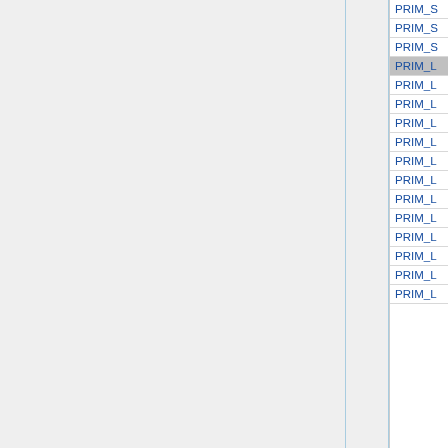[ PRIM_BUMP_SHINY, integer face ]
19
| PRIM_ |
| --- |
| PRIM_S |
| PRIM_S |
| PRIM_S |
| PRIM_L |
| PRIM_L |
| PRIM_L |
| PRIM_L |
| PRIM_L |
| PRIM_L |
| PRIM_L |
| PRIM_L |
| PRIM_L |
| PRIM_L |
| PRIM_L |
| PRIM_L |
| PRIM_L |